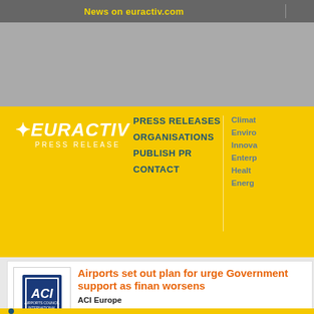News on euractiv.com
[Figure (logo): EURACTIV Press Release logo in white on yellow background]
PRESS RELEASES
ORGANISATIONS
PUBLISH PR
CONTACT
Climate
Environment
Innovation
Enterprise
Health
Energy
[Figure (logo): ACI Europe Airports Council International logo]
Airports set out plan for urgent Government support as financial situation worsens
ACI Europe